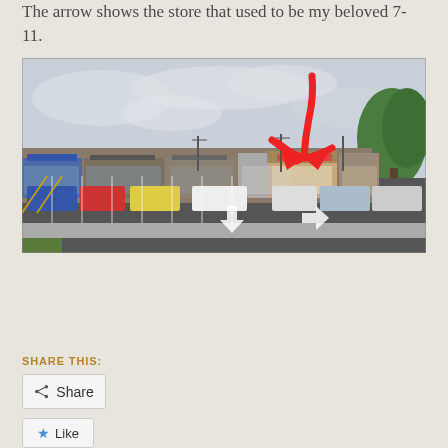The arrow shows the store that used to be my beloved 7-11.
[Figure (photo): Street view photo of a strip mall parking lot with stores in the background. A large red hand-drawn arrow points down to a specific store in the center-right of the image. White parking lot arrow markings are visible on the asphalt. Trees visible on the right side.]
SHARE THIS:
Share
Like